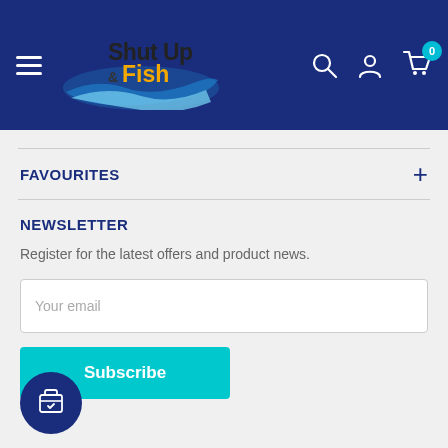Shut Up & Fish — navigation header with logo, hamburger menu, search, account, and cart icons
FAVOURITES
NEWSLETTER
Register for the latest offers and product news.
Your email
Subscribe